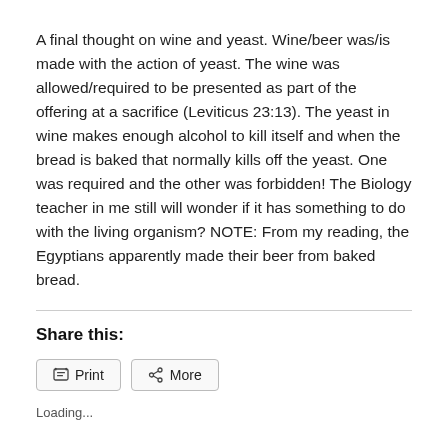A final thought on wine and yeast. Wine/beer was/is made with the action of yeast. The wine was allowed/required to be presented as part of the offering at a sacrifice (Leviticus 23:13). The yeast in wine makes enough alcohol to kill itself and when the bread is baked that normally kills off the yeast. One was required and the other was forbidden! The Biology teacher in me still will wonder if it has something to do with the living organism? NOTE: From my reading, the Egyptians apparently made their beer from baked bread.
Share this:
Print   More
Loading...